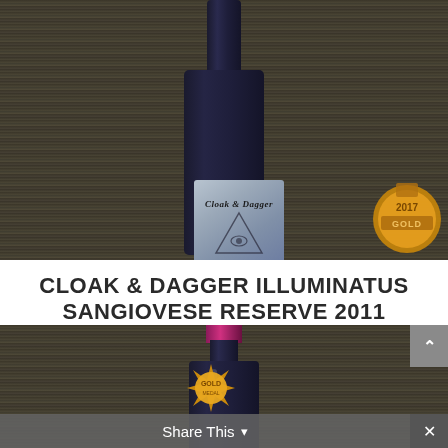[Figure (photo): Wine bottle of Cloak & Dagger Illuminatus Sangiovese Reserve 2011 against a wooden plank background, with a gold medal partially visible in the bottom right corner. The label shows gothic text 'Cloak & Dagger' with an all-seeing eye in a triangle.]
CLOAK & DAGGER ILLUMINATUS SANGIOVESE RESERVE 2011
[Figure (photo): Second wine bottle with a bright pink/magenta foil cap against the same wooden plank background. A gold starburst medal is partially visible. A 'Share This' toolbar and scroll-up button overlay the bottom portion of the image.]